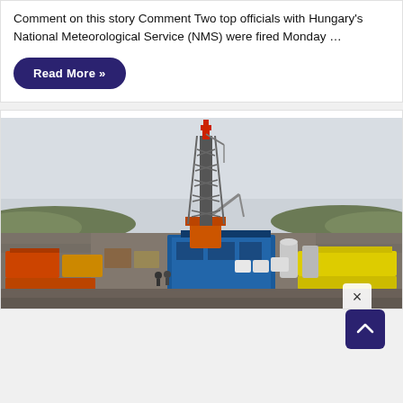Comment on this story Comment Two top officials with Hungary's National Meteorological Service (NMS) were fired Monday …
Read More »
[Figure (photo): Aerial view of a natural gas or oil drilling rig operation with a tall derrick tower, industrial equipment, storage containers, and workers at ground level. Overcast sky in background with hilly terrain.]
×